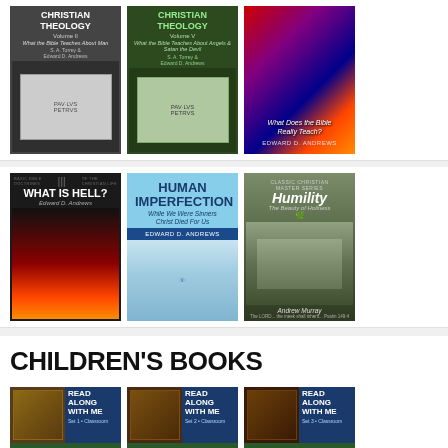[Figure (photo): Grid of book covers - top row: Christian Theology Vol II (gray cover), Christian Theology Vol V (green cover), What Does the Bible Really Teach? (colorful cosmos cover)]
[Figure (photo): Grid of book covers - middle row: What Is Hell? (dark with fire), Human Imperfection While We Were Sinners Christ Died For Us (blue with eye), Humility The Beauty of Holiness by Andrew Murray]
CHILDREN'S BOOKS
[Figure (photo): Bottom row of children's books - three Read Along With Me collection books with colorful covers]